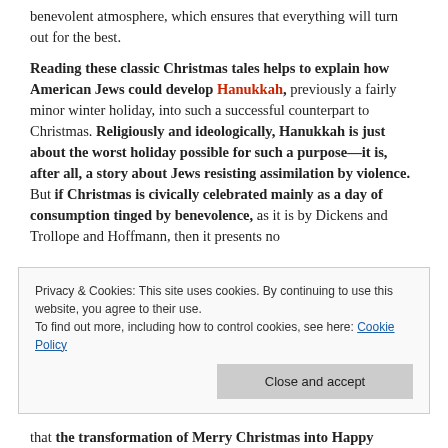benevolent atmosphere, which ensures that everything will turn out for the best.
Reading these classic Christmas tales helps to explain how American Jews could develop Hanukkah, previously a fairly minor winter holiday, into such a successful counterpart to Christmas. Religiously and ideologically, Hanukkah is just about the worst holiday possible for such a purpose—it is, after all, a story about Jews resisting assimilation by violence. But if Christmas is civically celebrated mainly as a day of consumption tinged by benevolence, as it is by Dickens and Trollope and Hoffmann, then it presents no
Privacy & Cookies: This site uses cookies. By continuing to use this website, you agree to their use.
To find out more, including how to control cookies, see here: Cookie Policy
that the transformation of Merry Christmas into Happy